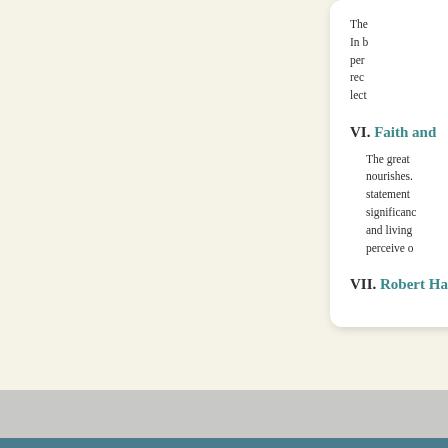The... In b... per... rec... lect...
VI. Faith and...
The great... nourishes... statement... significance... and living... perceive o...
VII. Robert Ha...